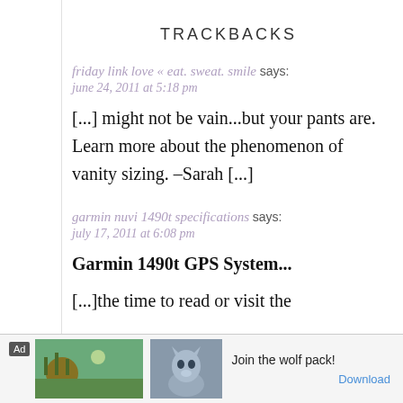TRACKBACKS
friday link love « eat. sweat. smile says:
june 24, 2011 at 5:18 pm
[...] might not be vain...but your pants are. Learn more about the phenomenon of vanity sizing. -Sarah [...]
garmin nuvi 1490t specifications says:
july 17, 2011 at 6:08 pm
Garmin 1490t GPS System...
[...]the time to read or visit the
[Figure (other): Advertisement banner at bottom: Ad label, bear and nature image, wolf image, text 'Join the wolf pack!' and Download button]